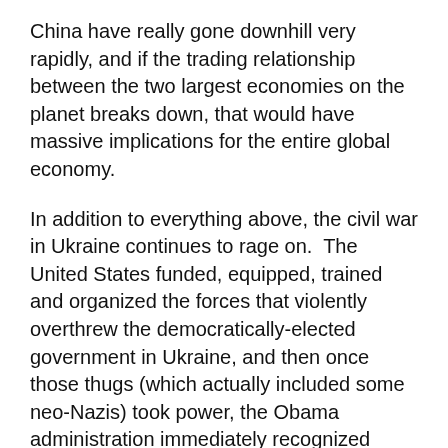China have really gone downhill very rapidly, and if the trading relationship between the two largest economies on the planet breaks down, that would have massive implications for the entire global economy.
In addition to everything above, the civil war in Ukraine continues to rage on.  The United States funded, equipped, trained and organized the forces that violently overthrew the democratically-elected government in Ukraine, and then once those thugs (which actually included some neo-Nazis) took power, the Obama administration immediately recognized them as the legitimate government of Ukraine.
The Russians were absolutely infuriated by this, and they have been providing soldiers...